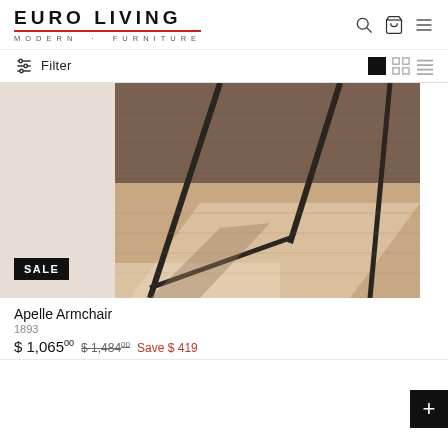EURO LIVING — MODERN · FURNITURE
Filter
[Figure (photo): Close-up photo of chair legs on a wooden floor, showing metal hairpin-style chair legs casting shadows on light and dark wood flooring.]
SALE
Apelle Armchair
1893
$ 1,065.00  $1,484.00  Save $ 419